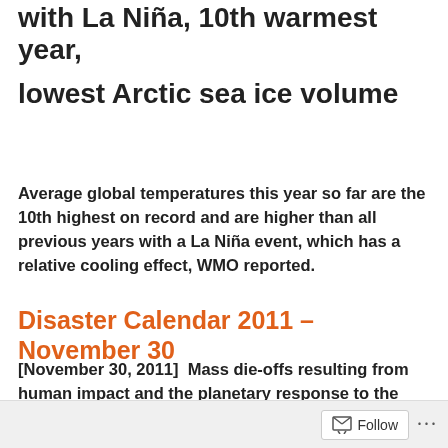with La Niña, 10th warmest year, lowest Arctic sea ice volume
Average global temperatures this year so far are the 10th highest on record and are higher than all previous years with a La Niña event, which has a relative cooling effect, WMO reported.
Disaster Calendar 2011 – November 30
[November 30, 2011]  Mass die-offs resulting from human impact and the planetary response to the anthropogenic assault could occur by early 2016.
Follow